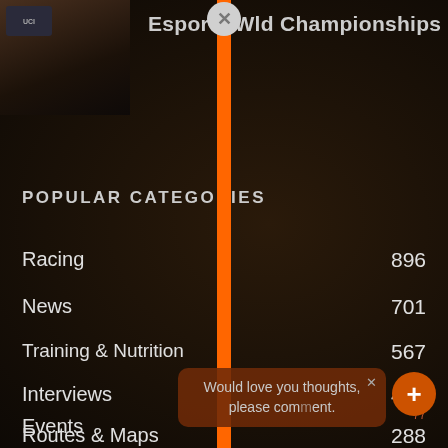[Figure (screenshot): Dark background with bicycle/esports imagery, partially visible UCI branding top-left thumbnail]
Esports World Championships
POPULAR CATEGORIES
Racing 896
News 701
Training & Nutrition 567
Interviews 435
Events
Routes & Maps 288
Would love you thoughts, please comment.